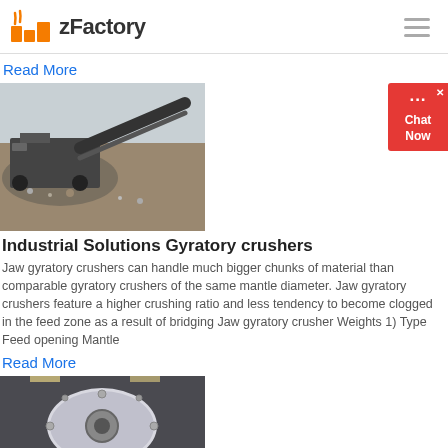zFactory
Read More
[Figure (photo): Industrial gyratory/jaw crusher machine on an outdoor worksite with gravel piles and conveyor belt]
Industrial Solutions Gyratory crushers
Jaw gyratory crushers can handle much bigger chunks of material than comparable gyratory crushers of the same mantle diameter. Jaw gyratory crushers feature a higher crushing ratio and less tendency to become clogged in the feed zone as a result of bridging Jaw gyratory crusher Weights 1) Type Feed opening Mantle
Read More
[Figure (photo): Large ball mill or cylindrical industrial grinding machine viewed from the end, indoors]